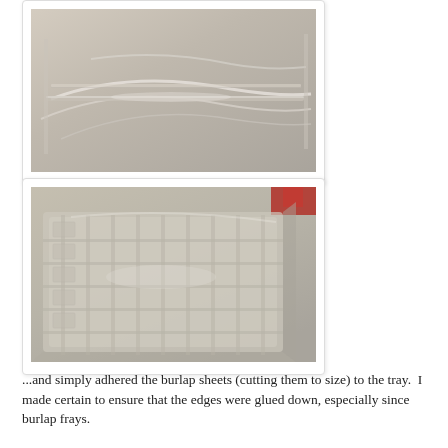[Figure (photo): Close-up photograph of a transparent plastic tray showing molded ridges and channels, viewed from above at an angle, with a light beige/cream background.]
[Figure (photo): Photograph of a transparent/clear plastic tray with a grid of molded rectangular channels and compartments, viewed at an angle on a light surface. A red object is partially visible in the upper right corner.]
...and simply adhered the burlap sheets (cutting them to size) to the tray.  I made certain to ensure that the edges were glued down, especially since burlap frays.